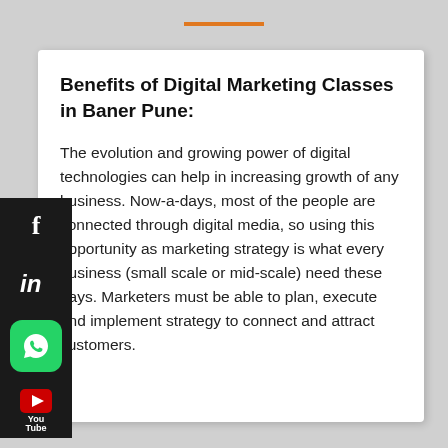Benefits of Digital Marketing Classes in Baner Pune:
The evolution and growing power of digital technologies can help in increasing growth of any business. Now-a-days, most of the people are connected through digital media, so using this opportunity as marketing strategy is what every business (small scale or mid-scale) need these days. Marketers must be able to plan, execute and implement strategy to connect and attract customers.